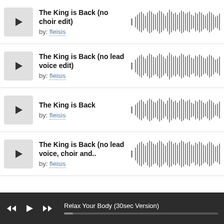[Figure (screenshot): Music track listing UI with play buttons, track titles, authors, and audio waveforms, plus a player bar at the bottom]
The King is Back (no choir edit)
by: fleisis
The King is Back (no lead voice edit)
by: fleisis
The King is Back
by: fleisis
The King is Back (no lead voice, choir and..
by: fleisis
Relax Your Body (30sec Version)